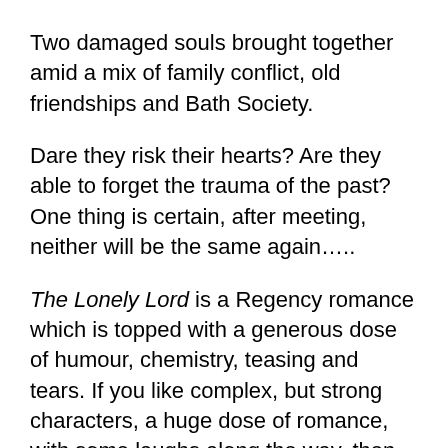Two damaged souls brought together amid a mix of family conflict, old friendships and Bath Society.
Dare they risk their hearts? Are they able to forget the trauma of the past? One thing is certain, after meeting, neither will be the same again…..
The Lonely Lord is a Regency romance which is topped with a generous dose of humour, chemistry, teasing and tears. If you like complex, but strong characters, a huge dose of romance, with some laughs along the way, then you'll love Audrey Harrison's Regency tale. Everyone deserves that happy ending.
Buy The Lonely Lord and fall in love today!